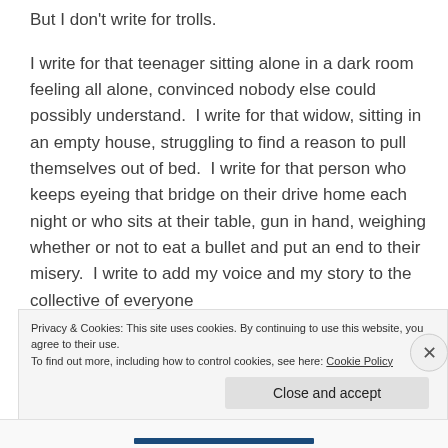But I don't write for trolls.
I write for that teenager sitting alone in a dark room feeling all alone, convinced nobody else could possibly understand.  I write for that widow, sitting in an empty house, struggling to find a reason to pull themselves out of bed.  I write for that person who keeps eyeing that bridge on their drive home each night or who sits at their table, gun in hand, weighing whether or not to eat a bullet and put an end to their misery.  I write to add my voice and my story to the collective of everyone
Privacy & Cookies: This site uses cookies. By continuing to use this website, you agree to their use.
To find out more, including how to control cookies, see here: Cookie Policy
Close and accept